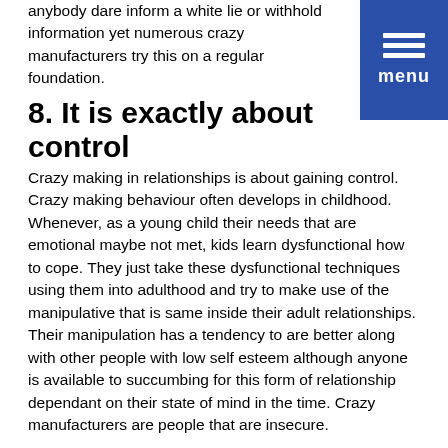anybody dare inform a white lie or withhold information yet numerous crazy manufacturers try this on a regular foundation.
8. It is exactly about control
Crazy making in relationships is about gaining control. Crazy making behaviour often develops in childhood. Whenever, as a young child their needs that are emotional maybe not met, kids learn dysfunctional how to cope. They just take these dysfunctional techniques using them into adulthood and try to make use of the manipulative that is same inside their adult relationships. Their manipulation has a tendency to are better along with other people with low self esteem although anyone is available to succumbing for this form of relationship dependant on their state of mind in the time. Crazy manufacturers are people that are insecure.
9. Delicate brain-washing
This might additionally occur whenever crazy making in relationships develops. Once more, this is accomplished in a subtle method as crazy manufacturers you will need to help you to come around with their thought processes. You have loaded the dishwasher for quite some time in a way that actually works completely well for you personally, when abruptly, this process is likely to be challenged. вЂњWhy perhaps you have done that?вЂ